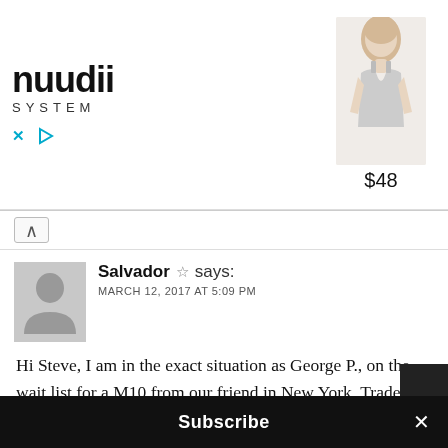[Figure (screenshot): Nuudii System advertisement banner showing a woman in a grey tank top, with the brand name 'nuudii SYSTEM', price '$48', and ad controls (X and play button)]
Salvador ☆ says:
MARCH 12, 2017 AT 5:09 PM
Hi Steve, I am in the exact situation as George P., on the wait list for a M10 from our friend in New York. Traded in my Safari M240 for a SL and got the 24-90 zoom early last year. I use this with my APO 50mm and the 28mm Lux after I read your reviews on this soon to be classic lens. You once said that your traded the SL in order to get the M10 but now it seems that you are using the SL
Subscribe